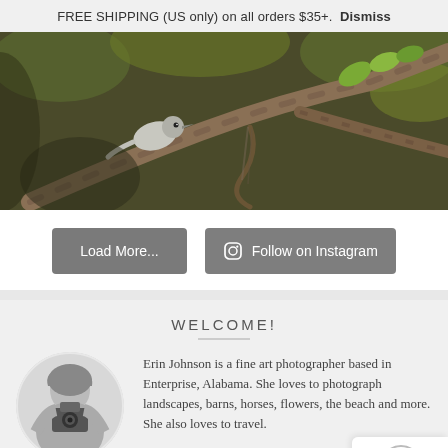FREE SHIPPING (US only) on all orders $35+.  Dismiss
[Figure (photo): Close-up photo of a bird on tree branches with green leaves in background]
Load More...
Follow on Instagram
WELCOME!
[Figure (photo): Circular black and white portrait of Erin, a photographer holding a camera, with 'MEET Erin' text]
Erin Johnson is a fine art photographer based in Enterprise, Alabama. She loves to photograph landscapes, barns, horses, flowers, the beach and more. She also loves to travel.